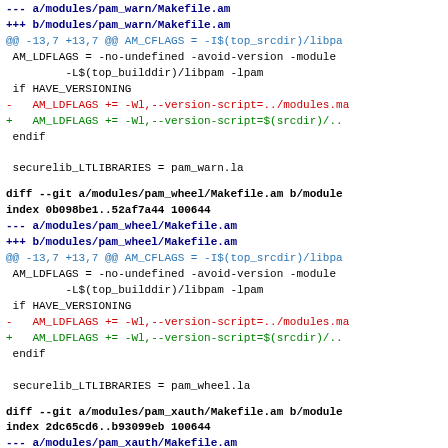--- a/modules/pam_warn/Makefile.am
+++ b/modules/pam_warn/Makefile.am
@@ -13,7 +13,7 @@ AM_CFLAGS = -I$(top_srcdir)/libpa
AM_LDFLAGS = -no-undefined -avoid-version -module
         -L$(top_builddir)/libpam -lpam
 if HAVE_VERSIONING
-   AM_LDFLAGS += -Wl,--version-script=../modules.ma
+   AM_LDFLAGS += -Wl,--version-script=$(srcdir)/..
 endif

 securelib_LTLIBRARIES = pam_warn.la
diff --git a/modules/pam_wheel/Makefile.am b/module
index 0b098be1..52af7a44 100644
--- a/modules/pam_wheel/Makefile.am
+++ b/modules/pam_wheel/Makefile.am
@@ -13,7 +13,7 @@ AM_CFLAGS = -I$(top_srcdir)/libpa
AM_LDFLAGS = -no-undefined -avoid-version -module
         -L$(top_builddir)/libpam -lpam
 if HAVE_VERSIONING
-   AM_LDFLAGS += -Wl,--version-script=../modules.ma
+   AM_LDFLAGS += -Wl,--version-script=$(srcdir)/..
 endif

 securelib_LTLIBRARIES = pam_wheel.la
diff --git a/modules/pam_xauth/Makefile.am b/module
index 2dc65cd6..b93099eb 100644
--- a/modules/pam_xauth/Makefile.am
+++ b/modules/pam_xauth/Makefile.am